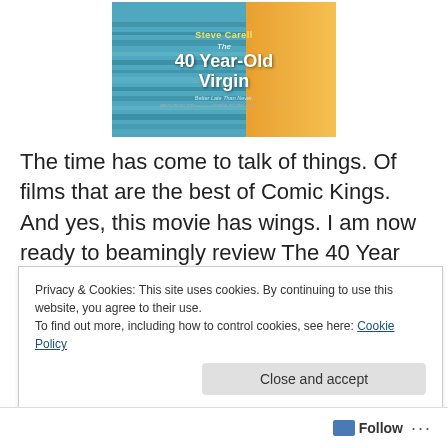[Figure (photo): Movie poster for 'The 40 Year-Old Virgin' featuring Steve Carell. Blue and teal striped shirt on left, orange/yellow background on right. Text reads: Steve Carell, The 40 Year-Old Virgin, Better Late Than Never.]
The time has come to talk of things. Of films that are the best of Comic Kings. And yes, this movie has wings. I am now ready to beamingly review The 40 Year Old Virgin, my favorite of all comedies. A close second is Dumb & Dumber, followed by Meet The Spartans. But more about
Privacy & Cookies: This site uses cookies. By continuing to use this website, you agree to their use.
To find out more, including how to control cookies, see here: Cookie Policy
Close and accept